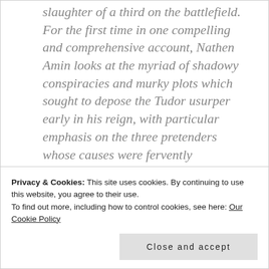slaughter of a third on the battlefield. For the first time in one compelling and comprehensive account, Nathen Amin looks at the myriad of shadowy conspiracies and murky plots which sought to depose the Tudor usurper early in his reign, with particular emphasis on the three pretenders whose causes were fervently advanced by Yorkist dissidents – Lambert Simnel, Perkin
Privacy & Cookies: This site uses cookies. By continuing to use this website, you agree to their use.
To find out more, including how to control cookies, see here: Our Cookie Policy
Close and accept